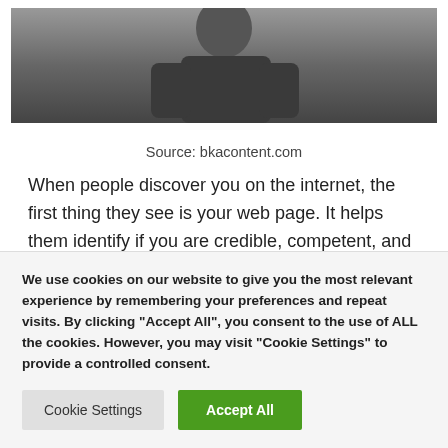[Figure (photo): Photo of a person (partially visible), dark background, cropped at top of page]
Source: bkacontent.com
When people discover you on the internet, the first thing they see is your web page. It helps them identify if you are credible, competent, and worthy of their business. As a consequence, first impressions matter a lot. Everything about your online content must be precise.
We use cookies on our website to give you the most relevant experience by remembering your preferences and repeat visits. By clicking "Accept All", you consent to the use of ALL the cookies. However, you may visit "Cookie Settings" to provide a controlled consent.